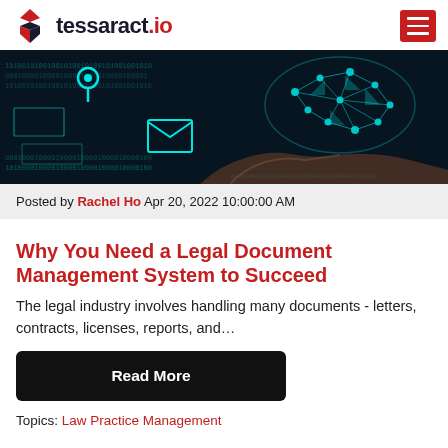tessaract.io
[Figure (photo): Digital technology concept image showing glowing cyan network/cloud brain held in a hand, with binary code, location pin, and email icon overlaid on dark background]
Posted by Rachel Ho Apr 20, 2022 10:00:00 AM
Why You Need a Legal Document Management System to Succeed
The legal industry involves handling many documents - letters, contracts, licenses, reports, and...
Read More
Topics: Law Practice Management